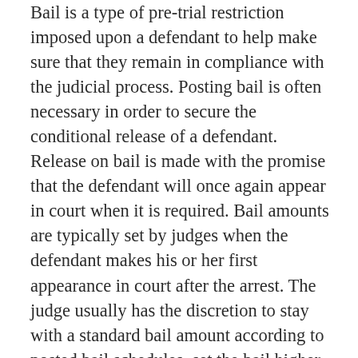Bail is a type of pre-trial restriction imposed upon a defendant to help make sure that they remain in compliance with the judicial process. Posting bail is often necessary in order to secure the conditional release of a defendant. Release on bail is made with the promise that the defendant will once again appear in court when it is required. Bail amounts are typically set by judges when the defendant makes his or her first appearance in court after the arrest. The judge usually has the discretion to stay with a standard bail amount according to posted bail schedules, set the bail higher or lower than standard bail, or deny bail altogether. In the alternative, the judge may choose to waive bail, release on the defendant's own recognizance, or set other special conditions for the defendant's release.